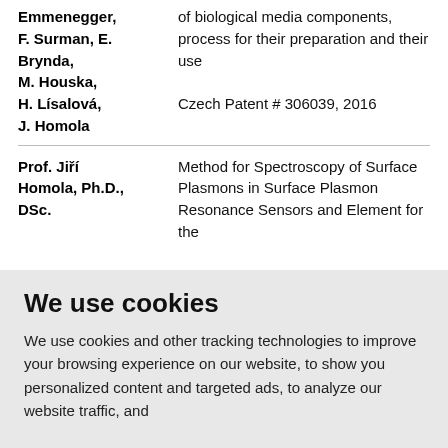Emmenegger, F. Surman, E. Brynda, M. Houska, H. Lísalová, J. Homola
of biological media components, process for their preparation and their use
Czech Patent # 306039, 2016
Prof. Jiří Homola, Ph.D., DSc.
Method for Spectroscopy of Surface Plasmons in Surface Plasmon Resonance Sensors and Element for the
We use cookies
We use cookies and other tracking technologies to improve your browsing experience on our website, to show you personalized content and targeted ads, to analyze our website traffic, and